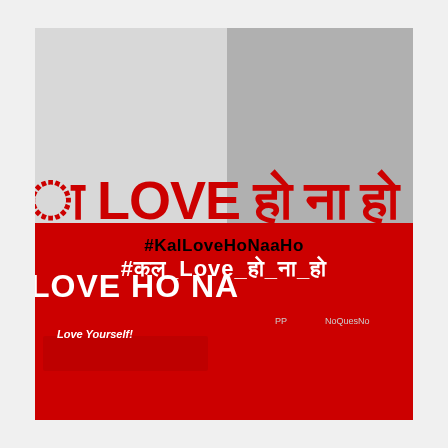[Figure (illustration): Social media graphic with two-panel background (light gray left, gray-to-red gradient right) with red strip across middle. Large red text in Hindi/English: 'LOVE हो ना हो'. Hashtags: #KalLoveHoNaaHo and #कल_Love_हो_ना_हो। Text: 'Love Yourself!', 'PP', 'NoQuesNo']